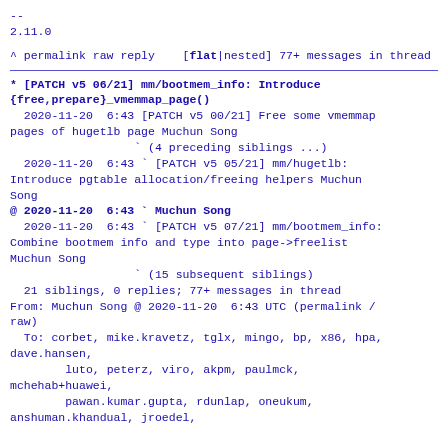--
2.11.0
^ permalink raw reply    [flat|nested] 77+ messages in thread
* [PATCH v5 06/21] mm/bootmem_info: Introduce {free,prepare}_vmemmap_page()
  2020-11-20  6:43 [PATCH v5 00/21] Free some vmemmap pages of hugetlb page Muchun Song
                  ` (4 preceding siblings ...)
  2020-11-20  6:43 ` [PATCH v5 05/21] mm/hugetlb: Introduce pgtable allocation/freeing helpers Muchun Song
@ 2020-11-20  6:43 ` Muchun Song
  2020-11-20  6:43 ` [PATCH v5 07/21] mm/bootmem_info: Combine bootmem info and type into page->freelist Muchun Song
                  ` (15 subsequent siblings)
  21 siblings, 0 replies; 77+ messages in thread
From: Muchun Song @ 2020-11-20  6:43 UTC (permalink / raw)
  To: corbet, mike.kravetz, tglx, mingo, bp, x86, hpa, dave.hansen,
        luto, peterz, viro, akpm, paulmck, mchehab+huawei,
        pawan.kumar.gupta, rdunlap, oneukum, anshuman.khandual, jroedel,